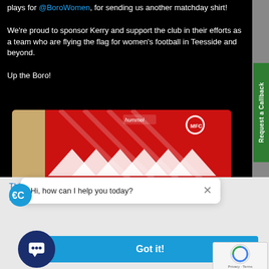plays for @BoroWomen, for sending us another matchday shirt!
We're proud to sponsor Kerry and support the club in their efforts as a team who are flying the flag for women's football in Teesside and beyond.
Up the Boro!
[Figure (photo): A red hummel football/matchday shirt with white chevron pattern and club badge, laid flat on a wooden surface.]
[Figure (screenshot): Green vertical sidebar button with text 'Request a Callback']
This website uses cookies to ensure you get the best experience on our website.
Hi, how can I help you today?
Got it!
[Figure (logo): reCAPTCHA logo with Privacy and Terms links]